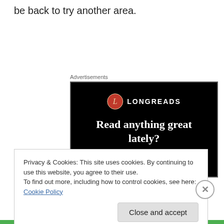be back to try another area.
Advertisements
[Figure (other): Longreads advertisement banner with black background, Longreads logo (red circle with 'L' and text 'LONGREADS'), headline 'Read anything great lately?', and a red 'Start reading' button.]
Privacy & Cookies: This site uses cookies. By continuing to use this website, you agree to their use.
To find out more, including how to control cookies, see here: Cookie Policy
Close and accept